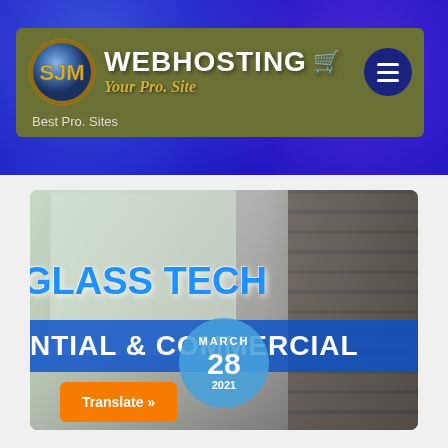[Figure (screenshot): SJM Webhosting website header with olive/green-brown background, SJM logo circle in silver/gold, WEBHOSTING text in white bold with shopping cart icon, tagline 'Your Pro. Site' in gold italic, navy blue hamburger menu button, and 'Best Pro. Sites' subtitle. Blue fireworks background surrounds the header.]
[Figure (photo): Interior room photo used as blog post thumbnail showing windows with light, an interior wall, and a brick fireplace on the right side. Overlaid with 'GLASS TECH' in large blue bold text and 'NTIAL & COMMERCIAL' in white text on dark blue bar. Date circle shows MARCH 28 2021 in blue. Orange 'Translate »' button in bottom left.]